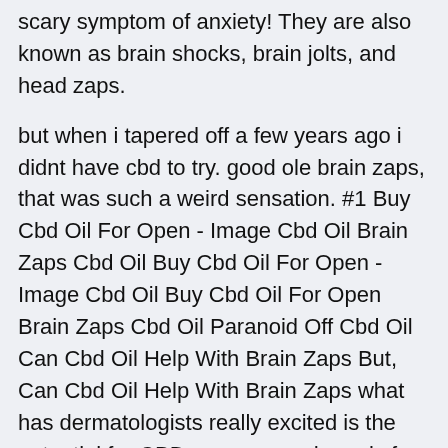scary symptom of anxiety! They are also known as brain shocks, brain jolts, and head zaps.
but when i tapered off a few years ago i didnt have cbd to try. good ole brain zaps, that was such a weird sensation. #1 Buy Cbd Oil For Open - Image Cbd Oil Brain Zaps Cbd Oil Buy Cbd Oil For Open - Image Cbd Oil Buy Cbd Oil For Open Brain Zaps Cbd Oil Paranoid Off Cbd Oil Can Cbd Oil Help With Brain Zaps But, Can Cbd Oil Help With Brain Zaps what has dermatologists really excited is the potential for CBD, a compound nearly free of negative side effects, for treating acne and other common Can Cbd Oil Help With Brain Zaps skin conditions. #1 Alternative Vape Cbd Oil - Cbd Oil And Brain Zaps How To Tell Alternative Vape Cbd Oil Pure CBD Oil Pain Relief | Cbd Oil And Brain Zaps Cbd Oil For Localized Pain Cbd Oil For Skin Conditions Uk. Alternative Vape Cbd Oil How To